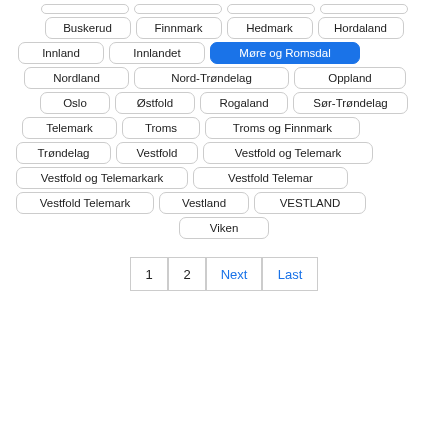Buskerud
Finnmark
Hedmark
Hordaland
Innland
Innlandet
Møre og Romsdal (active)
Nordland
Nord-Trøndelag
Oppland
Oslo
Østfold
Rogaland
Sør-Trøndelag
Telemark
Troms
Troms og Finnmark
Trøndelag
Vestfold
Vestfold og Telemark
Vestfold og Telemarkark
Vestfold Telemar
Vestfold Telemark
Vestland
VESTLAND
Viken
1  2  Next  Last